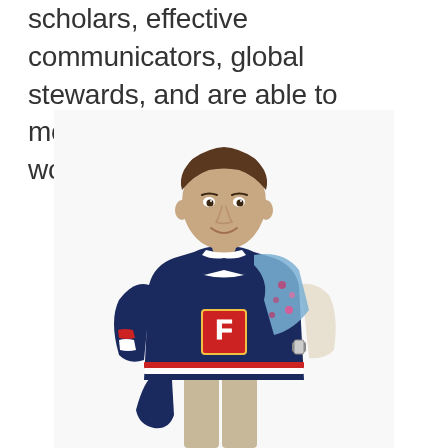scholars, effective communicators, global stewards, and are able to model their faith to effect the world for Christ.
[Figure (photo): A young male student smiling, wearing a navy blue and white varsity letterman jacket with a red letter patch, a white polo shirt underneath, carrying a floral backpack over his shoulder and holding a navy item in his other hand. Light/white background.]